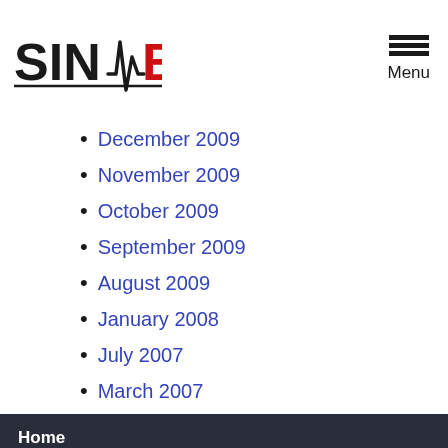SINAIEM — Menu
December 2009
November 2009
October 2009
September 2009
August 2009
January 2008
July 2007
March 2007
Home | Educational Site | Pearl Pushers | People